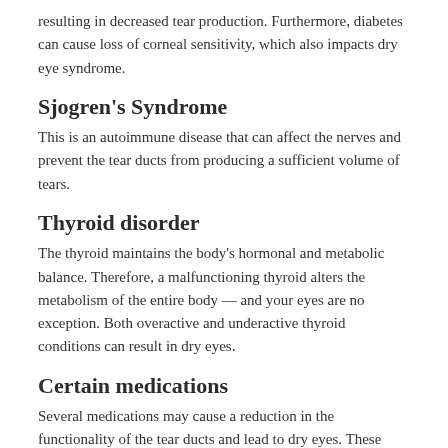resulting in decreased tear production. Furthermore, diabetes can cause loss of corneal sensitivity, which also impacts dry eye syndrome.
Sjogren’s Syndrome
This is an autoimmune disease that can affect the nerves and prevent the tear ducts from producing a sufficient volume of tears.
Thyroid disorder
The thyroid maintains the body’s hormonal and metabolic balance. Therefore, a malfunctioning thyroid alters the metabolism of the entire body — and your eyes are no exception. Both overactive and underactive thyroid conditions can result in dry eyes.
Certain medications
Several medications may cause a reduction in the functionality of the tear ducts and lead to dry eyes. These include:
Diuretics
Decongestants